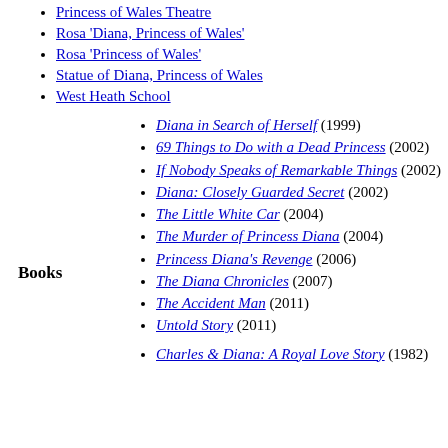Princess of Wales Theatre
Rosa 'Diana, Princess of Wales'
Rosa 'Princess of Wales'
Statue of Diana, Princess of Wales
West Heath School
Diana in Search of Herself (1999)
69 Things to Do with a Dead Princess (2002)
If Nobody Speaks of Remarkable Things (2002)
Diana: Closely Guarded Secret (2002)
The Little White Car (2004)
The Murder of Princess Diana (2004)
Princess Diana's Revenge (2006)
The Diana Chronicles (2007)
The Accident Man (2011)
Untold Story (2011)
Charles & Diana: A Royal Love Story (1982)